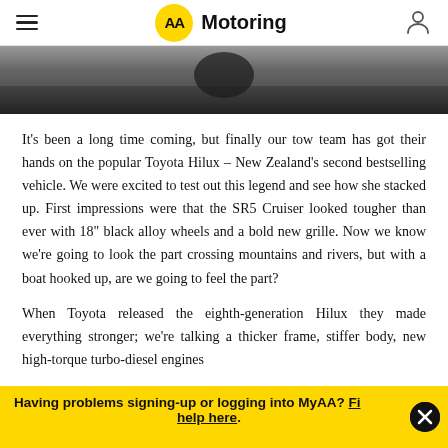AA Motoring
[Figure (photo): Partial view of a vehicle undercarriage or dark road/ground surface, cropped at the top of the page]
It’s been a long time coming, but finally our tow team has got their hands on the popular Toyota Hilux – New Zealand’s second bestselling vehicle. We were excited to test out this legend and see how she stacked up. First impressions were that the SR5 Cruiser looked tougher than ever with 18” black alloy wheels and a bold new grille. Now we know we’re going to look the part crossing mountains and rivers, but with a boat hooked up, are we going to feel the part?
When Toyota released the eighth-generation Hilux they made everything stronger; we’re talking a thicker frame, stiffer body, new high-torque turbo-diesel engines…
Having problems signing-up or logging into MyAA? Find help here.